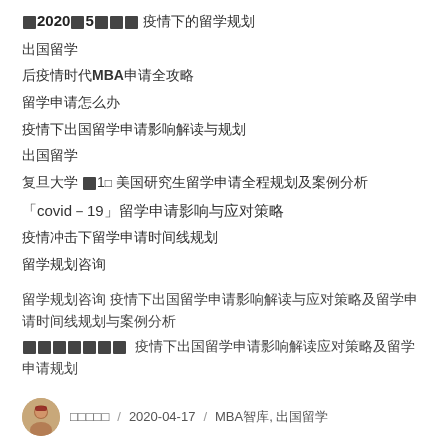2020年5月★★★ 疫情下的留学规划
出国留学
后疫情时代MBA申请全攻略
留学申请怎么办
疫情下出国留学申请影响解读与规划
出国留学
复旦大学 ★1★ 美国研究生留学申请全程规划及案例分析
「covid-19」留学申请影响与应对策略
疫情冲击下留学申请时间线规划
留学规划咨询
留学规划咨询 疫情下出国留学申请影响解读与应对策略及留学申请时间线规划与案例分析
★★★★★★★  疫情下出国留学申请影响解读应对策略及留学申请规划
作者姓名 / 2020-04-17 / MBA智库, 出国留学